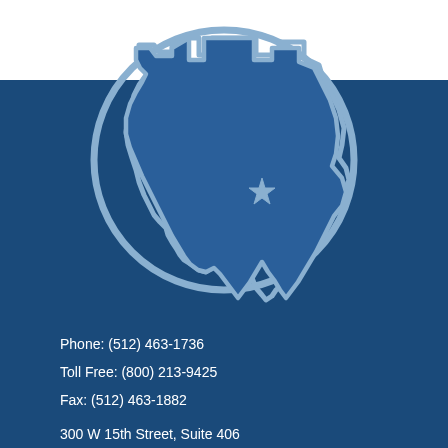[Figure (logo): Texas state outline with a star marking Austin, inside a circle, displayed in light blue/gray on a dark blue background. The top portion of the circle extends above the blue background into the white area.]
Phone: (512) 463-1736
Toll Free: (800) 213-9425
Fax: (512) 463-1882
300 W 15th Street, Suite 406